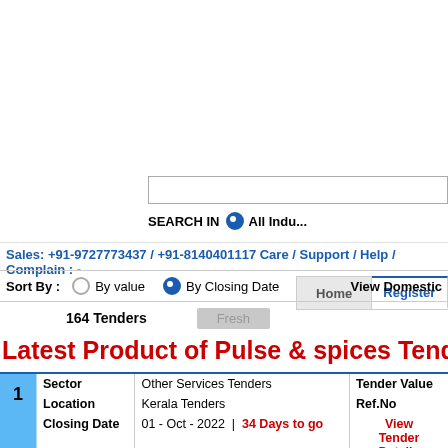[Figure (screenshot): Navigation bar with Home, Register (active), About Us, Services tabs and a search input box below]
SEARCH IN  All Indu...
Sales: +91-9727773437 / +91-8140401117 Care / Support / Help / Complain : -
Sort By :   By value   By Closing Date   View Domestic
164 Tenders   Fresh
Latest Product of Pulse & spices Tenders
| # | Sector | Location | Closing Date | Tender Value | Ref.No | Actions |
| --- | --- | --- | --- | --- | --- | --- |
| 1 | Other Services Tenders | Kerala Tenders | 01 - Oct - 2022 | 34 Days to go |  |  | View Tender Details |
|  | Supply of cardamom at sabarimala |  |  |  |  |  |